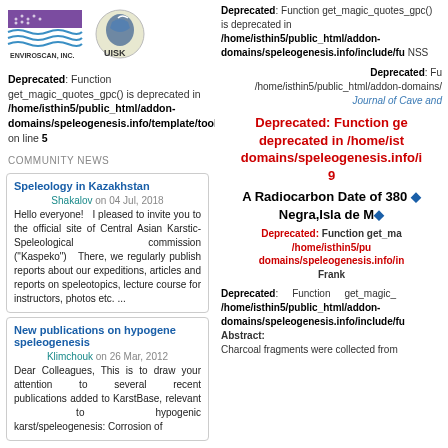[Figure (logo): Enviroscan Inc. logo and UISK logo side by side]
Deprecated: Function get_magic_quotes_gpc() is deprecated in /home/isthin5/public_html/addon-domains/speleogenesis.info/template/toolbar_left.php on line 5
COMMUNITY NEWS
Speleology in Kazakhstan
Shakalov on 04 Jul, 2018
Hello everyone! I pleased to invite you to the official site of Central Asian Karstic-Speleological commission ("Kaspeko") There, we regularly publish reports about our expeditions, articles and reports on speleotopics, lecture course for instructors, photos etc. ...
New publications on hypogene speleogenesis
Klimchouk on 26 Mar, 2012
Dear Colleagues, This is to draw your attention to several recent publications added to KarstBase, relevant to hypogenic karst/speleogenesis: Corrosion of
Deprecated: Function get_magic_quotes_gpc() is deprecated in /home/isthin5/public_html/addon-domains/speleogenesis.info/include/fu NSS
Deprecated: Fu /home/isthin5/public_html/addon-domains/ Journal of Cave and
Deprecated: Function ge deprecated in /home/ist domains/speleogenesis.info/i 9
A Radiocarbon Date of 380 Negra,Isla de M
Deprecated: Function get_ma /home/isthin5/pu domains/speleogenesis.info/in Frank
Deprecated: Function get_magic_ /home/isthin5/public_html/addon-domains/speleogenesis.info/include/fu Abstract:
Charcoal fragments were collected from